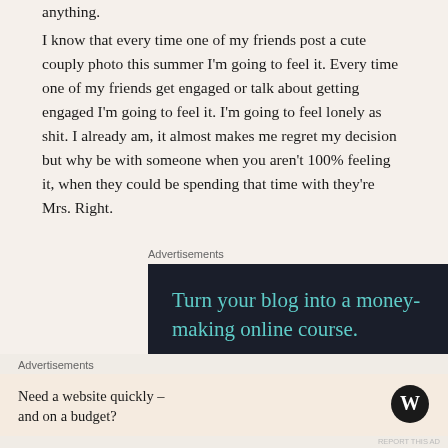anything.
I know that every time one of my friends post a cute couply photo this summer I'm going to feel it. Every time one of my friends get engaged or talk about getting engaged I'm going to feel it. I'm going to feel lonely as shit. I already am, it almost makes me regret my decision but why be with someone when you aren't 100% feeling it, when they could be spending that time with they're Mrs. Right.
Advertisements
[Figure (screenshot): Dark advertisement banner with teal text reading 'Turn your blog into a money-making online course.']
Advertisements
[Figure (screenshot): Light beige advertisement bar reading 'Need a website quickly – and on a budget?' with WordPress logo]